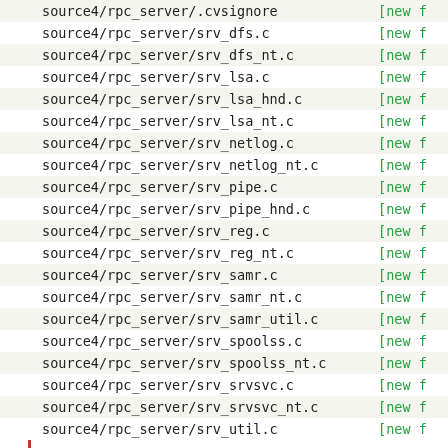| filename | status |
| --- | --- |
| source4/rpc_server/.cvsignore | [new f |
| source4/rpc_server/srv_dfs.c | [new f |
| source4/rpc_server/srv_dfs_nt.c | [new f |
| source4/rpc_server/srv_lsa.c | [new f |
| source4/rpc_server/srv_lsa_hnd.c | [new f |
| source4/rpc_server/srv_lsa_nt.c | [new f |
| source4/rpc_server/srv_netlog.c | [new f |
| source4/rpc_server/srv_netlog_nt.c | [new f |
| source4/rpc_server/srv_pipe.c | [new f |
| source4/rpc_server/srv_pipe_hnd.c | [new f |
| source4/rpc_server/srv_reg.c | [new f |
| source4/rpc_server/srv_reg_nt.c | [new f |
| source4/rpc_server/srv_samr.c | [new f |
| source4/rpc_server/srv_samr_nt.c | [new f |
| source4/rpc_server/srv_samr_util.c | [new f |
| source4/rpc_server/srv_spoolss.c | [new f |
| source4/rpc_server/srv_spoolss_nt.c | [new f |
| source4/rpc_server/srv_srvsvc.c | [new f |
| source4/rpc_server/srv_srvsvc_nt.c | [new f |
| source4/rpc_server/srv_util.c | [new f |